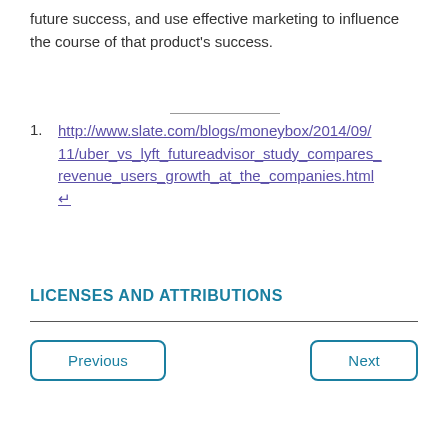future success, and use effective marketing to influence the course of that product's success.
1. http://www.slate.com/blogs/moneybox/2014/09/11/uber_vs_lyft_futureadvisor_study_compares_revenue_users_growth_at_the_companies.html ↵
LICENSES AND ATTRIBUTIONS